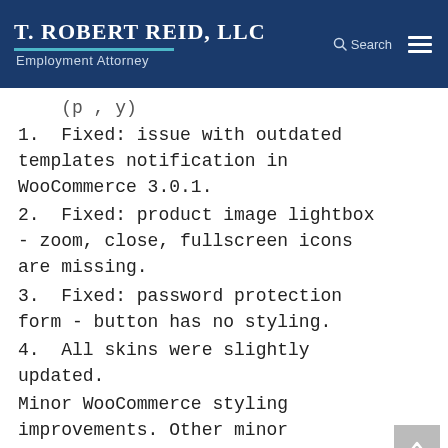T. Robert Reid, LLC — Employment Attorney
(p , y)
1. Fixed: issue with outdated templates notification in WooCommerce 3.0.1.
2. Fixed: product image lightbox - zoom, close, fullscreen icons are missing.
3. Fixed: password protection form - button has no styling.
4. All skins were slightly updated.
Minor WooCommerce styling improvements. Other minor improvements and fixes.